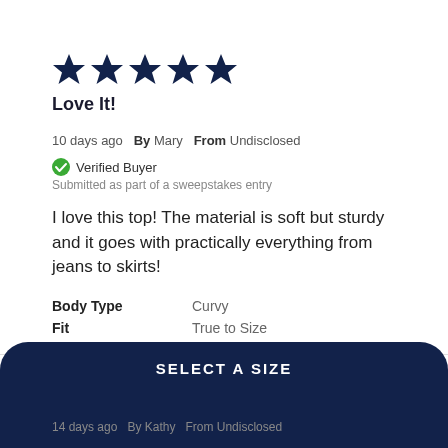[Figure (other): Five dark navy star icons representing a 5-star rating]
Love It!
10 days ago  By Mary  From Undisclosed
Verified Buyer
Submitted as part of a sweepstakes entry
I love this top! The material is soft but sturdy and it goes with practically everything from jeans to skirts!
| Body Type | Curvy |
| Fit | True to Size |
[Figure (other): Five dark navy star icons representing a 5-star rating for a second review]
SELECT A SIZE
14 days ago  By Kathy  From Undisclosed